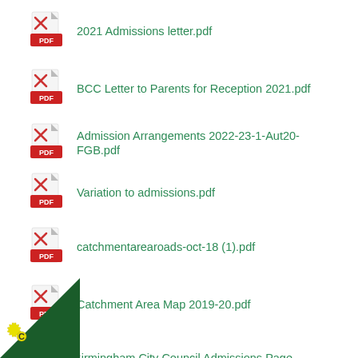2021 Admissions letter.pdf
BCC Letter to Parents for Reception 2021.pdf
Admission Arrangements 2022-23-1-Aut20-FGB.pdf
Variation to admissions.pdf
catchmentarearoads-oct-18 (1).pdf
Catchment Area Map 2019-20.pdf
Birmingham City Council Admissions Page